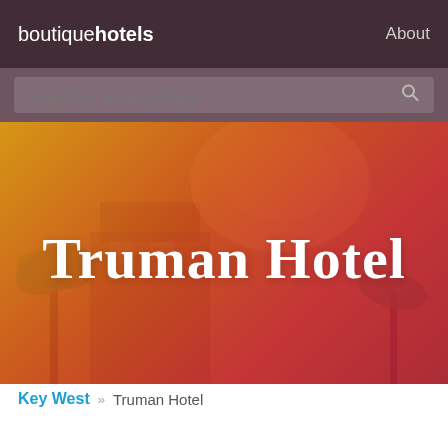boutiquehotels   About
Search for a city or place...
[Figure (photo): Hero image of Truman Hotel with warm orange-to-red gradient overlay, palm trees and hotel architecture visible in background]
Truman Hotel
Key West » Truman Hotel